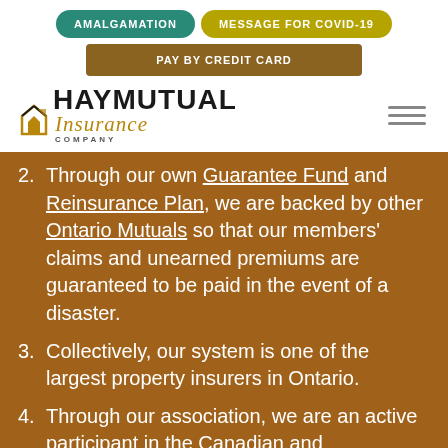AMALGAMATION | MESSAGE FOR COVID-19 | PAY BY CREDIT CARD
[Figure (logo): Hay Mutual Insurance Company logo with stylized H icon]
2. Through our own Guarantee Fund and Reinsurance Plan, we are backed by other Ontario Mutuals so that our members' claims and unearned premiums are guaranteed to be paid in the event of a disaster.
3. Collectively, our system is one of the largest property insurers in Ontario.
4. Through our association, we are an active participant in the Canadian and international insurance industry.
5. We stay on top of current issues and make